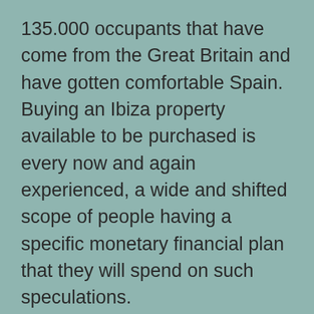135.000 occupants that have come from the Great Britain and have gotten comfortable Spain. Buying an Ibiza property available to be purchased is every now and again experienced, a wide and shifted scope of people having a specific monetary financial plan that they will spend on such speculations.
Regardless of whether you are a basic family that without a doubt needs to have a second home in Spain – addressed by an Ibiza property available to be purchased so you can partake in the brilliant water that Spain has, or then again in case you are a resigned couple